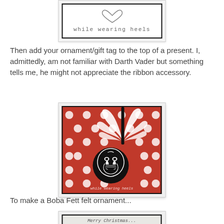[Figure (photo): Top portion of a crafted tag/card with 'while wearing heels' text in handwritten style with a heart shape, bordered with black outline]
Then add your ornament/gift tag to the top of a present. I, admittedly, am not familiar with Darth Vader but something tells me, he might not appreciate the ribbon accessory.
[Figure (photo): Photo of a black Darth Vader felt ornament with white ribbon curls on a red polka dot background, watermark reads 'while wearing heels']
To make a Boba Fett felt ornament...
[Figure (photo): Bottom portion showing handwritten text on a card/tag, partially visible]